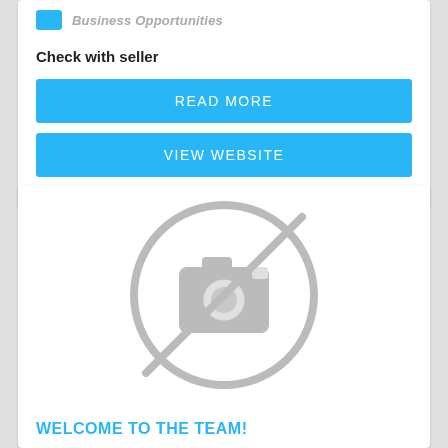Business Opportunities
Check with seller
READ MORE
VIEW WEBSITE
[Figure (illustration): No photo available placeholder icon: camera icon with a diagonal line through it inside a circle, rendered in grey]
WELCOME TO THE TEAM!